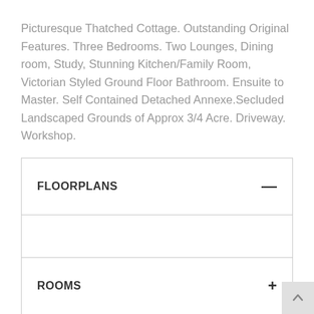Picturesque Thatched Cottage. Outstanding Original Features. Three Bedrooms. Two Lounges, Dining room, Study, Stunning Kitchen/Family Room, Victorian Styled Ground Floor Bathroom. Ensuite to Master. Self Contained Detached Annexe.Secluded Landscaped Grounds of Approx 3/4 Acre. Driveway. Workshop.
FLOORPLANS —
ROOMS +
VIDEO +
MAP +
CONTACT US +